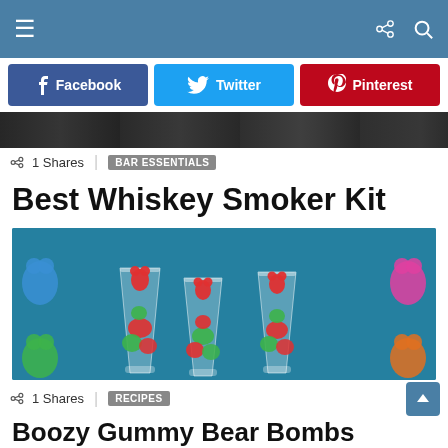Navigation bar with hamburger menu, share icon, and search icon
[Figure (screenshot): Social sharing buttons: Facebook (blue), Twitter (cyan), Pinterest (red)]
[Figure (photo): Dark photo strip background image]
1 Shares   BAR ESSENTIALS
Best Whiskey Smoker Kit
[Figure (photo): Three shot glasses filled with red and green gummy bears on a teal background, with gummy bears visible on sides]
1 Shares   RECIPES
Boozy Gummy Bear Bombs